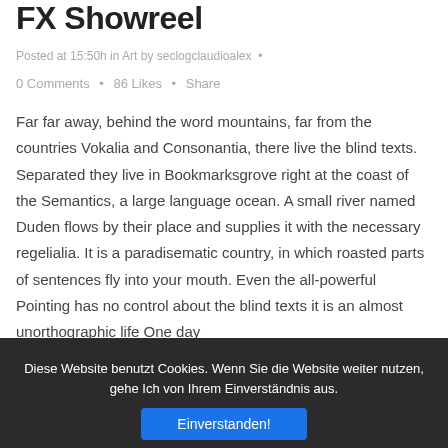FX Showreel
Posted at 15:50h in Art by seclogclaudioalex
0 Comments • 86 Likes • Share
Far far away, behind the word mountains, far from the countries Vokalia and Consonantia, there live the blind texts. Separated they live in Bookmarksgrove right at the coast of the Semantics, a large language ocean. A small river named Duden flows by their place and supplies it with the necessary regelialia. It is a paradisematic country, in which roasted parts of sentences fly into your mouth. Even the all-powerful Pointing has no control about the blind texts it is an almost unorthographic life One day
Diese Website benutzt Cookies. Wenn Sie die Website weiter nutzen, gehe Ich von Ihrem Einverständnis aus. Einverstanden!